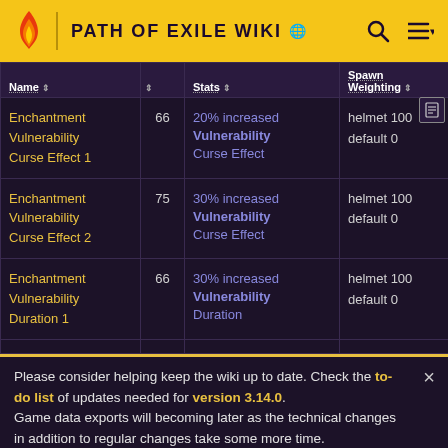PATH OF EXILE WIKI
| Name |  | Stats | Spawn Weighting |
| --- | --- | --- | --- |
| Enchantment Vulnerability Curse Effect 1 | 66 | 20% increased Vulnerability Curse Effect | helmet 100 default 0 |
| Enchantment Vulnerability Curse Effect 2 | 75 | 30% increased Vulnerability Curse Effect | helmet 100 default 0 |
| Enchantment Vulnerability Duration 1 | 66 | 30% increased Vulnerability Duration | helmet 100 default 0 |
Please consider helping keep the wiki up to date. Check the to-do list of updates needed for version 3.14.0. Game data exports will becoming later as the technical changes in addition to regular changes take some more time.